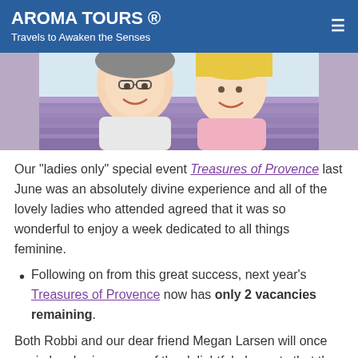AROMA TOURS ® — Travels to Awaken the Senses
[Figure (photo): Two smiling women taking a selfie outdoors in what appears to be a lavender field in Provence.]
Our "ladies only" special event Treasures of Provence last June was an absolutely divine experience and all of the lovely ladies who attended agreed that it was so wonderful to enjoy a week dedicated to all things feminine.
Following on from this great success, next year's Treasures of Provence now has only 2 vacancies remaining.
Both Robbi and our dear friend Megan Larsen will once again be sharing many of the delightful elements that they love about Provence, especially for women travellers